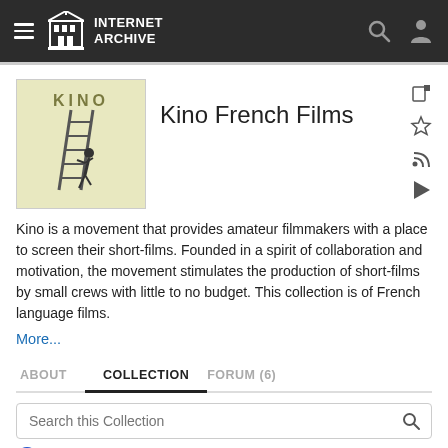INTERNET ARCHIVE
[Figure (illustration): Kino logo: light yellow-green background with 'KINO' text at top and a silhouette of a person climbing a ladder]
Kino French Films
Kino is a movement that provides amateur filmmakers with a place to screen their short-films. Founded in a spirit of collaboration and motivation, the movement stimulates the production of short-films by small crews with little to no budget. This collection is of French language films.
More...
ABOUT    COLLECTION    FORUM (6)
Search this Collection
Metadata
Text contents (no results)